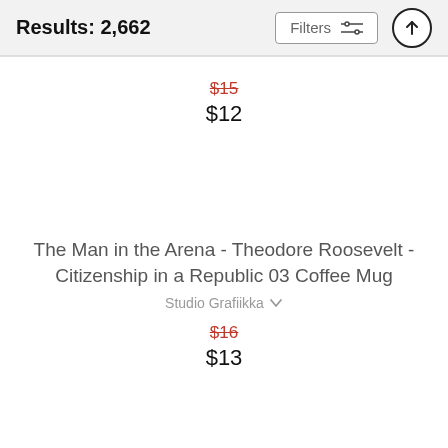Results: 2,662
$15 (strikethrough) $12
The Man in the Arena - Theodore Roosevelt - Citizenship in a Republic 03 Coffee Mug
Studio Grafiikka
$16 (strikethrough) $13
Teddy Roosevelt - Our President Coffee